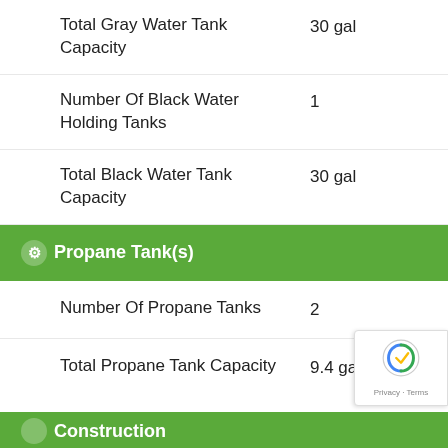Total Gray Water Tank Capacity
Number Of Black Water Holding Tanks
Total Black Water Tank Capacity
Propane Tank(s)
Number Of Propane Tanks
Total Propane Tank Capacity
Construction